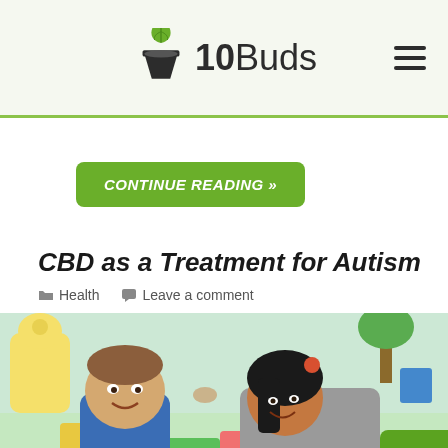10Buds
CONTINUE READING »
CBD as a Treatment for Autism
Health   Leave a comment
[Figure (photo): A boy with autism touching foreheads with a woman (likely a therapist or mother) in a colorful classroom environment]
CBD as a Treatment for Autism